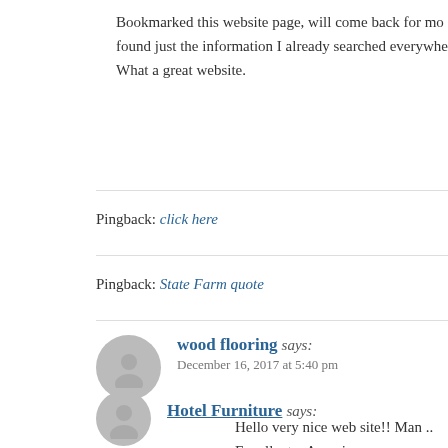Bookmarked this website page, will come back for more. found just the information I already searched everywhere. What a great website.
Pingback: click here
Pingback: State Farm quote
wood flooring says:
December 16, 2017 at 5:40 pm
Hello very nice web site!! Man .. Excellent .. Amazing .. take the feeds additionallyKI am satisfied to find a lot of put up, we'd like work out more strategies on this rega...
Hotel Furniture says: